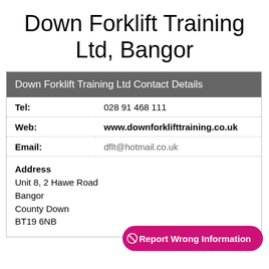Down Forklift Training Ltd, Bangor
| Field | Value |
| --- | --- |
| Tel: | 028 91 468 111 |
| Web: | www.downforklifttraining.co.uk |
| Email: | dflt@hotmail.co.uk |
| Address | Unit 8, 2 Hawe Road
Bangor
County Down
BT19 6NB |
Report Wrong Information